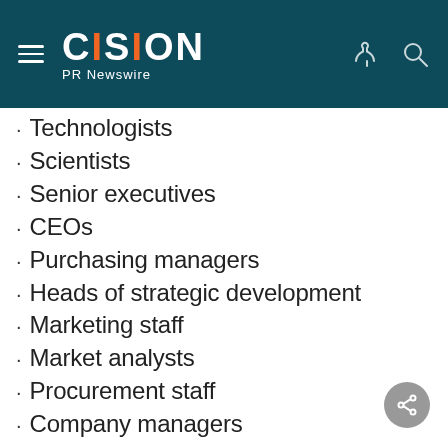CISION PR Newswire
Technologists
Scientists
Senior executives
CEOs
Purchasing managers
Heads of strategic development
Marketing staff
Market analysts
Procurement staff
Company managers
Industry administrators
Industry associations
Consultants
Investors